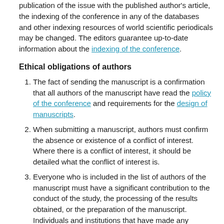publication of the issue with the published author's article, the indexing of the conference in any of the databases and other indexing resources of world scientific periodicals may be changed. The editors guarantee up-to-date information about the indexing of the conference.
Ethical obligations of authors
The fact of sending the manuscript is a confirmation that all authors of the manuscript have read the policy of the conference and requirements for the design of manuscripts.
When submitting a manuscript, authors must confirm the absence or existence of a conflict of interest. Where there is a conflict of interest, it should be detailed what the conflict of interest is.
Everyone who is included in the list of authors of the manuscript must have a significant contribution to the conduct of the study, the processing of the results obtained, or the preparation of the manuscript. Individuals and institutions that have made any contribution to the study or manuscript that are not